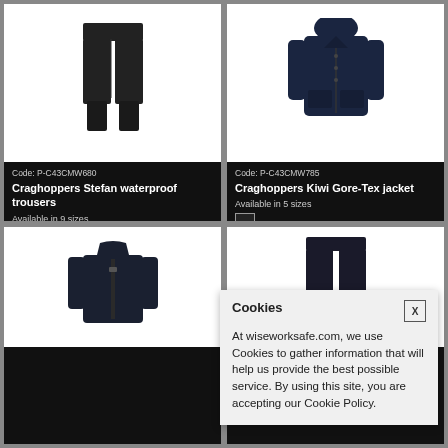[Figure (photo): Black waterproof trousers on white background]
Code: P-C43CMW680
Craghoppers Stefan waterproof trousers
Available in 9 sizes
From £54.15 ex VAT
Unit: Pair
Add to Favourites
Buy Now
[Figure (photo): Navy blue Gore-Tex jacket on white background]
Code: P-C43CMW785
Craghoppers Kiwi Gore-Tex jacket
Available in 5 sizes
[Figure (photo): Dark navy fleece zip-up jacket on white background]
[Figure (photo): Dark trousers/pants partially visible on white background]
Cookies
At wiseworksafe.com, we use Cookies to gather information that will help us provide the best possible service. By using this site, you are accepting our Cookie Policy.